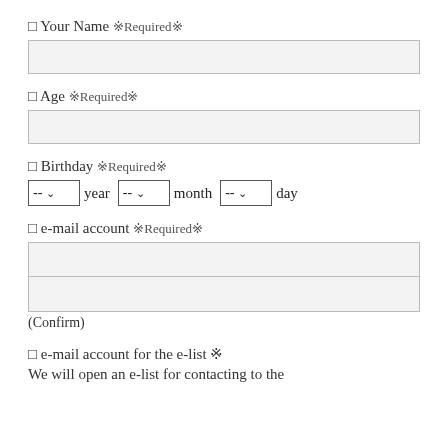□ Your Name ※Required※
□ Age ※Required※
□ Birthday ※Required※
□ e-mail account ※Required※
(Confirm)
□ e-mail account for the e-list ※
We will open an e-list for contacting to the